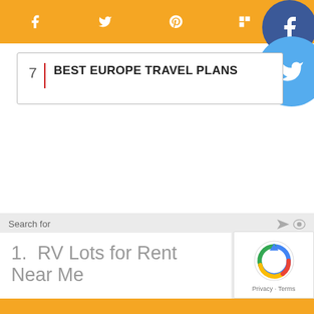Social share bar with Facebook, Twitter, Pinterest, Flipboard icons
7  BEST EUROPE TRAVEL PLANS
Search for
1.  RV Lots for Rent Near Me